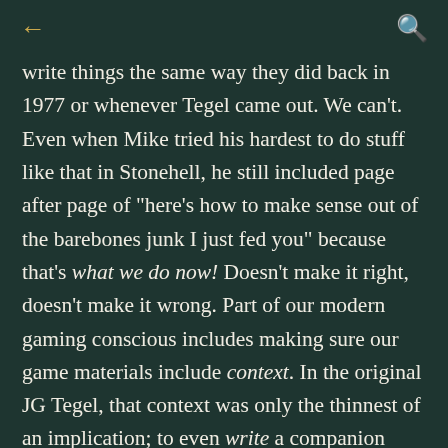← 🔍
write things the same way they did back in 1977 or whenever Tegel came out. We can't. Even when Mike tried his hardest to do stuff like that in Stonehell, he still included page after page of "here's how to make sense out of the barebones junk I just fed you" because that's what we do now! Doesn't make it right, doesn't make it wrong. Part of our modern gaming conscious includes making sure our game materials include context. In the original JG Tegel, that context was only the thinnest of an implication; to even write a companion adventure, Mike had to include more